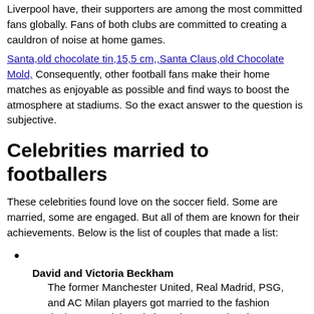Liverpool have, their supporters are among the most committed fans globally. Fans of both clubs are committed to creating a cauldron of noise at home games.
Santa,old chocolate tin,15,5 cm,,Santa Claus,old Chocolate Mold, Consequently, other football fans make their home matches as enjoyable as possible and find ways to boost the atmosphere at stadiums. So the exact answer to the question is subjective.
Celebrities married to footballers
These celebrities found love on the soccer field. Some are married, some are engaged. But all of them are known for their achievements. Below is the list of couples that made a list:
David and Victoria Beckham — The former Manchester United, Real Madrid, PSG, and AC Milan players got married to the fashion designer, model, and singer in 1999. Victoria Beckham rose to fame with her girl pop group, the Spice Girls, and was called Posh Spice.